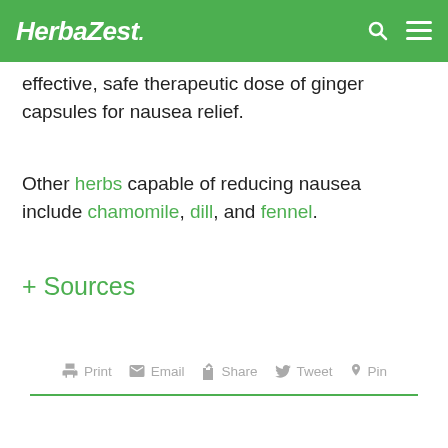HerbaZest.
effective, safe therapeutic dose of ginger capsules for nausea relief.
Other herbs capable of reducing nausea include chamomile, dill, and fennel.
+ Sources